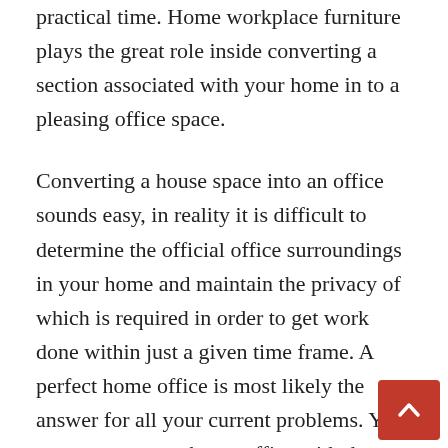practical time. Home workplace furniture plays the great role inside converting a section associated with your home in to a pleasing office space.
Converting a house space into an office sounds easy, in reality it is difficult to determine the official office surroundings in your home and maintain the privacy of which is required in order to get work done within just a given time frame. A perfect home office is most likely the answer for all your current problems. You can prepare your home office with the support of home workplace furniture. The work environment can help you within determining the sort of business office furnishings, the room, and even the impression you want to